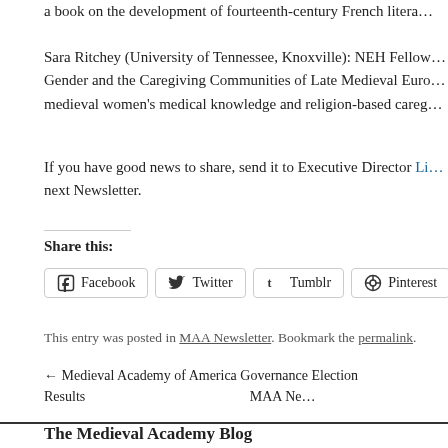a book on the development of fourteenth-century French litera…
Sara Ritchey (University of Tennessee, Knoxville): NEH Fellow… Gender and the Caregiving Communities of Late Medieval Euro… medieval women's medical knowledge and religion-based careg…
If you have good news to share, send it to Executive Director Li… next Newsletter.
Share this:
Facebook  Twitter  Tumblr  Pinterest
This entry was posted in MAA Newsletter. Bookmark the permalink.
← Medieval Academy of America Governance Election Results    MAA Ne…
The Medieval Academy Blog